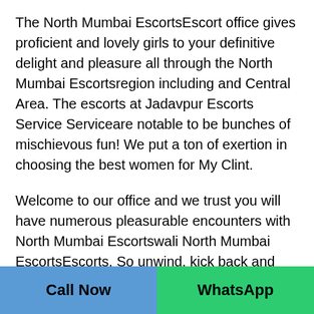The North Mumbai EscortsEscort office gives proficient and lovely girls to your definitive delight and pleasure all through the North Mumbai Escortsregion including and Central Area. The escorts at Jadavpur Escorts Service Serviceare notable to be bunches of mischievous fun! We put a ton of exertion in choosing the best women for My Clint.
Welcome to our office and we trust you will have numerous pleasurable encounters with North Mumbai Escortswali North Mumbai EscortsEscorts. So unwind, kick back and certainly take as much time as necessary to investigate this beautiful online boudoir! In the event that you have any significant inquiries, at that point please call
Call Now   WhatsApp